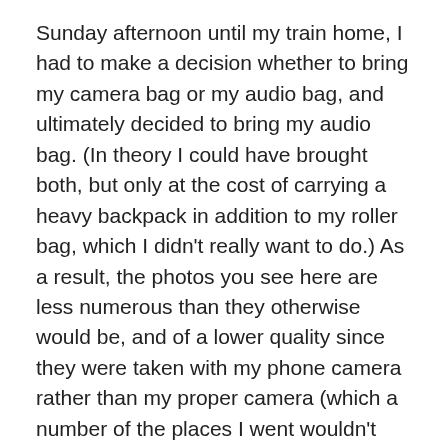Sunday afternoon until my train home, I had to make a decision whether to bring my camera bag or my audio bag, and ultimately decided to bring my audio bag. (In theory I could have brought both, but only at the cost of carrying a heavy backpack in addition to my roller bag, which I didn't really want to do.) As a result, the photos you see here are less numerous than they otherwise would be, and of a lower quality since they were taken with my phone camera rather than my proper camera (which a number of the places I went wouldn't have allowed in anyway).
My initial thought for a hotel was to find a Choice Hotels property (I'm in Choice's loyalty program) in Newark that looked reasonable. The only one I could find, however, was quite a distance north of Newark Penn on McCarter Highway (NJ 21), which meant spending a lot of money on